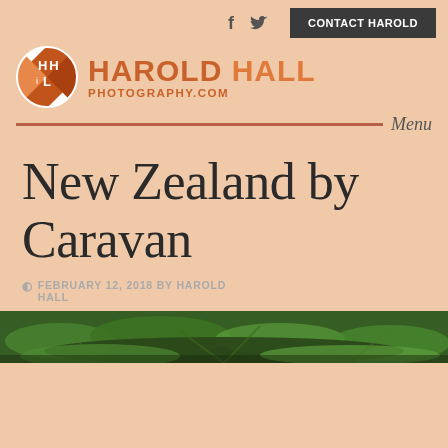f  🐦  CONTACT HAROLD
[Figure (logo): Harold Hall Photography.com logo with circular HH emblem in orange/brown and white, and text HAROLD HALL PHOTOGRAPHY.COM]
Menu
New Zealand by Caravan
FEBRUARY 12, 2018 BY HAROLD HALL
[Figure (photo): Partial photo of green ferns at the bottom of the page]